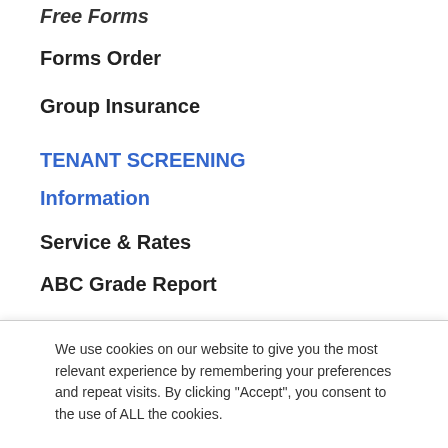Free Forms
Forms Order
Group Insurance
TENANT SCREENING
Information
Service & Rates
ABC Grade Report
We use cookies on our website to give you the most relevant experience by remembering your preferences and repeat visits. By clicking “Accept”, you consent to the use of ALL the cookies.
Do not sell my personal information.
Cookie settings  ACCEPT
[Figure (logo): TrustedSite Certified Secure badge with green checkmark]